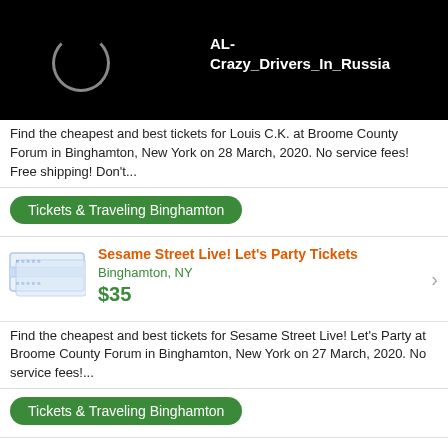[Figure (screenshot): Black loading screen with spinning circle loader on left and text 'AL-Crazy_Drivers_In_Russia' on right in white bold font]
Find the cheapest and best tickets for Louis C.K. at Broome County Forum in Binghamton, New York on 28 March, 2020. No service fees! Free shipping! Don't...
Tickets & Traveling Binghamton
Sesame Street Live! Let's Party Tickets
Binghamton, NY
$35
Find the cheapest and best tickets for Sesame Street Live! Let's Party at Broome County Forum in Binghamton, New York on 27 March, 2020. No service fees!...
Tickets & Traveling Binghamton
Riverdance Tickets
Binghamton, NY